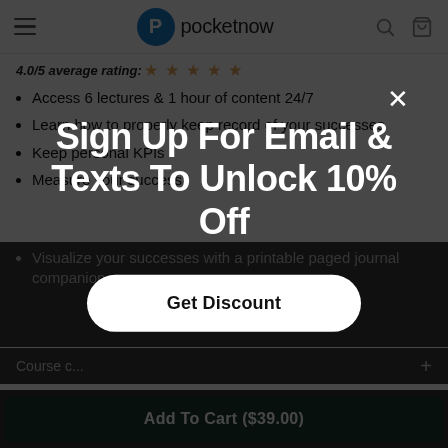pocketnow
4.0/5 average rating: ★ ★ ★ ★ ★
Access 6 lectures & 1 hour of content 24/7
Learn how to properly keep record of your successes
Keep personal KPIs
Measure your success
Visualize your successes with a printable paged journal companion
Course c...
Sign Up For Email & Texts To Unlock 10% Off
Get Discount
Add To Cart ($39.00)